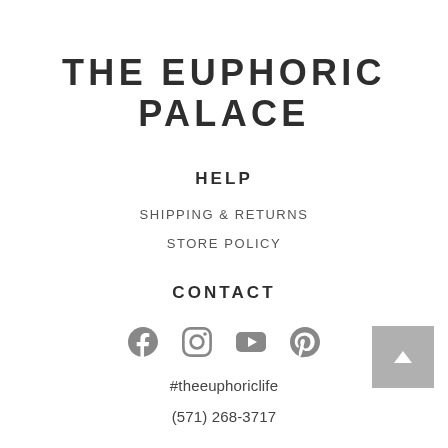THE EUPHORIC PALACE
HELP
SHIPPING & RETURNS
STORE POLICY
CONTACT
[Figure (infographic): Social media icons: Facebook, Instagram, YouTube, Pinterest]
#theeuphoriclife
(571) 268-3717